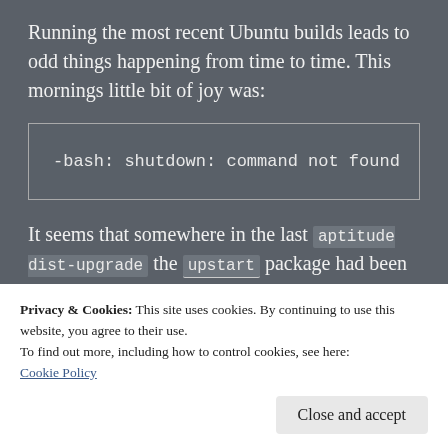Running the most recent Ubuntu builds leads to odd things happening from time to time. This mornings little bit of joy was:
It seems that somewhere in the last aptitude dist-upgrade the upstart package had been dropped from the selected list. For those
Privacy & Cookies: This site uses cookies. By continuing to use this website, you agree to their use.
To find out more, including how to control cookies, see here:
Cookie Policy
where shutdown binaries lived, that package